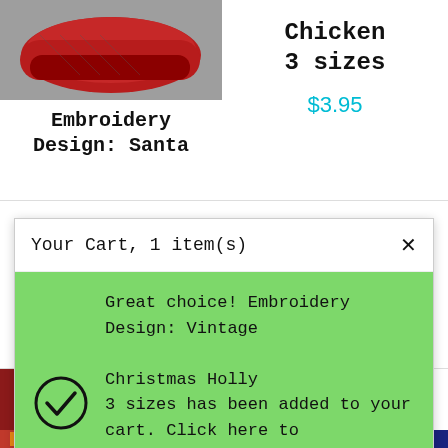[Figure (photo): Partial view of a red embroidered shoe/design at top left]
Embroidery Design: Santa
Chicken
3 sizes
$3.95
Your Cart, 1 item(s)
Great choice! Embroidery Design: Vintage Christmas Holly
3 sizes has been added to your cart. Click here to view your cart and checkout now. [X]
[Figure (photo): Photo of a glass with silver ornaments on red background]
$3.95
Embroidery Design: Vintage Christmas Holly
3 sizes
[Figure (photo): Partial view of colorful embroidery design at bottom left]
[Figure (photo): Partial view of blue and white geometric pattern at bottom right]